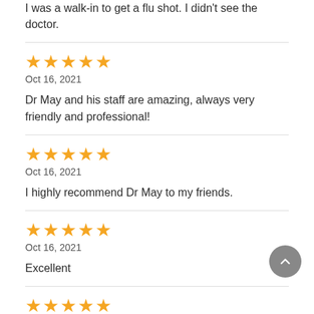I was a walk-in to get a flu shot. I didn't see the doctor.
Oct 16, 2021
Dr May and his staff are amazing, always very friendly and professional!
Oct 16, 2021
I highly recommend Dr May to my friends.
Oct 16, 2021
Excellent